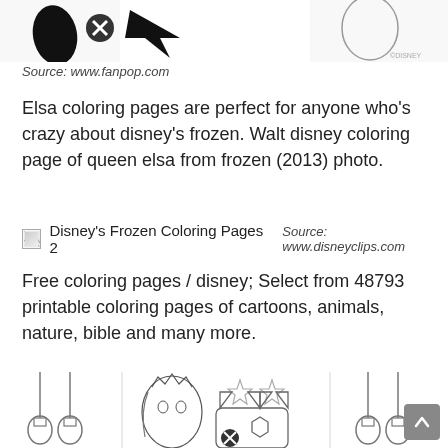[Figure (illustration): Top portion of Disney character coloring page images partially visible at top of page, including dark silhouette figures and a copyright watermark]
Source: www.fanpop.com
Elsa coloring pages are perfect for anyone who's crazy about disney's frozen. Walt disney coloring page of queen elsa from frozen (2013) photo.
[Figure (illustration): Broken image placeholder followed by text label 'Disney's Frozen Coloring Pages 2' and source attribution]
Source: www.disneyclips.com
Free coloring pages / disney; Select from 48793 printable coloring pages of cartoons, animals, nature, bible and many more.
[Figure (illustration): Bottom portion of Disney Frozen coloring pages showing partial coloring book images including Elsa character and other Frozen themed designs]